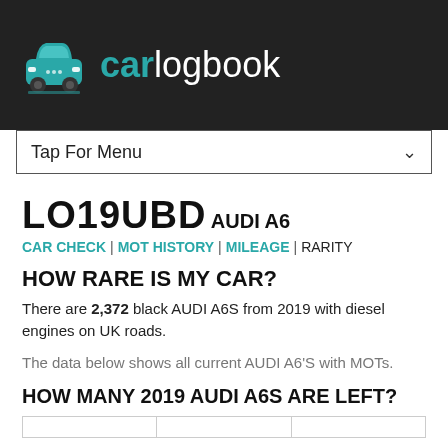carlogbook
Tap For Menu
LO19UBD
AUDI A6
CAR CHECK | MOT HISTORY | MILEAGE | RARITY
HOW RARE IS MY CAR?
There are 2,372 black AUDI A6S from 2019 with diesel engines on UK roads.
The data below shows all current AUDI A6'S with MOTs.
HOW MANY 2019 AUDI A6S ARE LEFT?